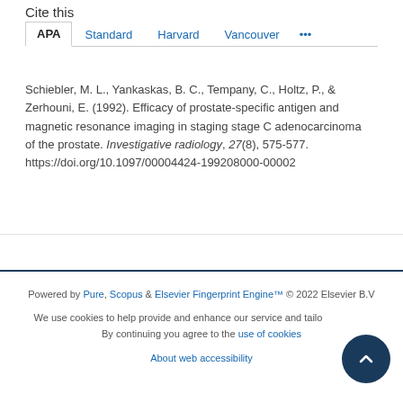Cite this
APA | Standard | Harvard | Vancouver | ...
Schiebler, M. L., Yankaskas, B. C., Tempany, C., Holtz, P., & Zerhouni, E. (1992). Efficacy of prostate-specific antigen and magnetic resonance imaging in staging stage C adenocarcinoma of the prostate. Investigative radiology, 27(8), 575-577. https://doi.org/10.1097/00004424-199208000-00002
Powered by Pure, Scopus & Elsevier Fingerprint Engine™ © 2022 Elsevier B.V
We use cookies to help provide and enhance our service and tailor content. By continuing you agree to the use of cookies
About web accessibility